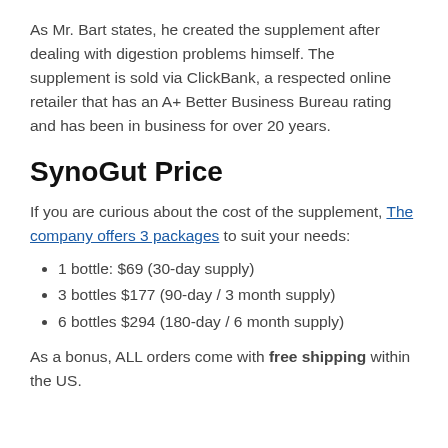As Mr. Bart states, he created the supplement after dealing with digestion problems himself. The supplement is sold via ClickBank, a respected online retailer that has an A+ Better Business Bureau rating and has been in business for over 20 years.
SynoGut Price
If you are curious about the cost of the supplement, The company offers 3 packages to suit your needs:
1 bottle: $69 (30-day supply)
3 bottles $177 (90-day / 3 month supply)
6 bottles $294 (180-day / 6 month supply)
As a bonus, ALL orders come with free shipping within the US.